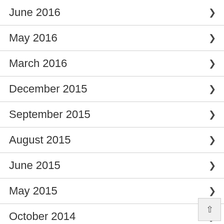June 2016
May 2016
March 2016
December 2015
September 2015
August 2015
June 2015
May 2015
October 2014
July 2014
May 2014
April 2014
February 2014